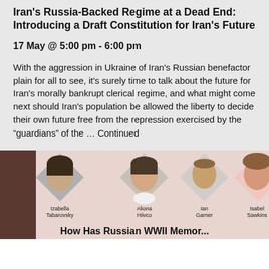Iran's Russia-Backed Regime at a Dead End: Introducing a Draft Constitution for Iran's Future
17 May @ 5:00 pm - 6:00 pm
With the aggression in Ukraine of Iran's Russian benefactor plain for all to see, it's surely time to talk about the future for Iran's morally bankrupt clerical regime, and what might come next should Iran's population be allowed the liberty to decide their own future free from the repression exercised by the "guardians" of the … Continued
[Figure (photo): Panel of four speakers with portrait photos: Izabella Tabarovsky, Aliona Hiivco, Ian Garner, Isabel Sawkins. Partial bottom text reads 'How Has Russian WWII Memory...']